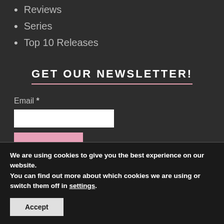Reviews
Series
Top 10 Releases
GET OUR NEWSLETTER!
Email *
We are using cookies to give you the best experience on our website.
You can find out more about which cookies we are using or switch them off in settings.
Accept